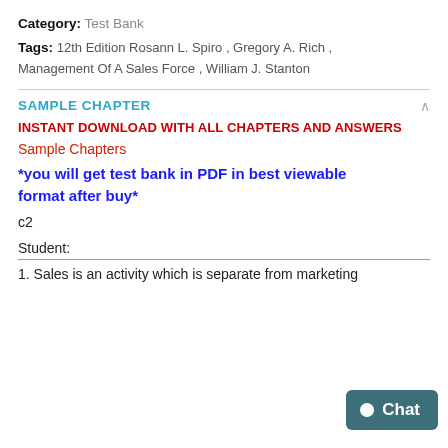Category: Test Bank
Tags: 12th Edition Rosann L. Spiro , Gregory A. Rich , Management Of A Sales Force , William J. Stanton
SAMPLE CHAPTER
INSTANT DOWNLOAD WITH ALL CHAPTERS AND ANSWERS
Sample Chapters
*you will get test bank in PDF in best viewable format after buy*
c2
Student:
1. Sales is an activity which is separate from marketing